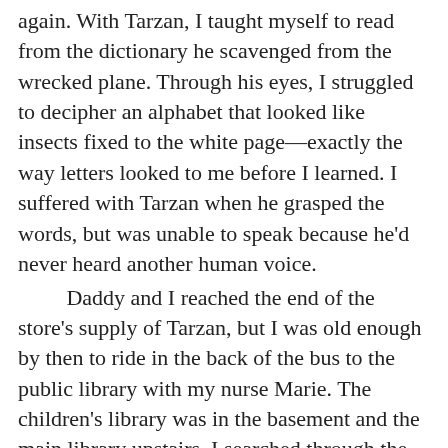again. With Tarzan, I taught myself to read from the dictionary he scavenged from the wrecked plane. Through his eyes, I struggled to decipher an alphabet that looked like insects fixed to the white page—exactly the way letters looked to me before I learned. I suffered with Tarzan when he grasped the words, but was unable to speak because he'd never heard another human voice. Daddy and I reached the end of the store's supply of Tarzan, but I was old enough by then to ride in the back of the bus to the public library with my nurse Marie. The children's library was in the basement and the main library upstairs. I searched through the basement shelves for any Tarzan books I might have missed and found nothing. We went to the lady at the desk for help. She greeted Marie's polite request with a certain stiff-necked disapproval. I would not